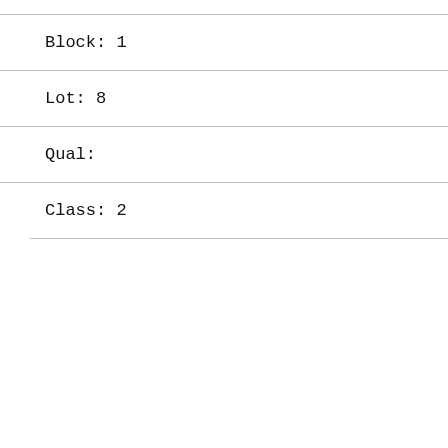Block: 1
Lot: 8
Qual:
Class: 2